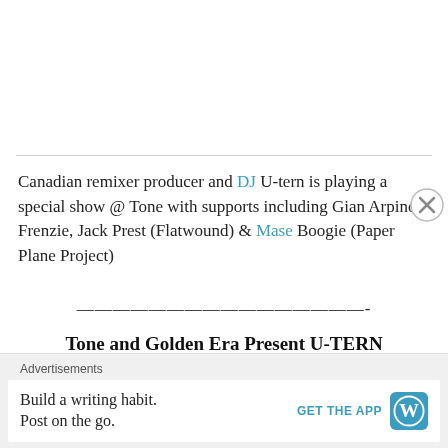Canadian remixer producer and DJ U-tern is playing a special show @ Tone with supports including Gian Arpino, Frenzie, Jack Prest (Flatwound) & Mase Boogie (Paper Plane Project)
————————————————-
Tone and Golden Era Present U-TERN (CANADA)
————————————————-
Advertisements
Build a writing habit. Post on the go. GET THE APP